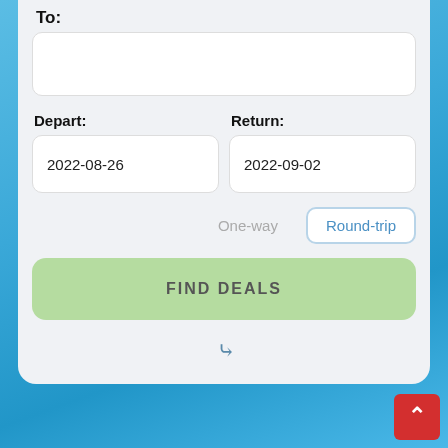To:
Depart:
2022-08-26
Return:
2022-09-02
One-way
Round-trip
FIND DEALS